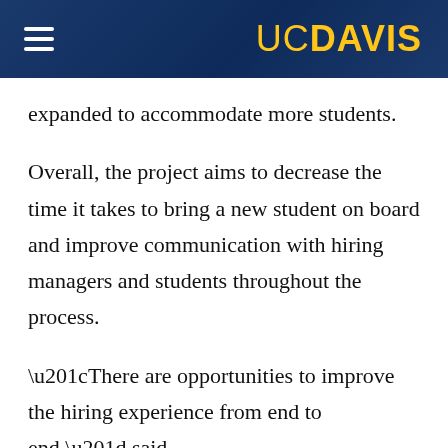UC DAVIS
expanded to accommodate more students.
Overall, the project aims to decrease the time it takes to bring a new student on board and improve communication with hiring managers and students throughout the process.
“There are opportunities to improve the hiring experience from end to end,” said